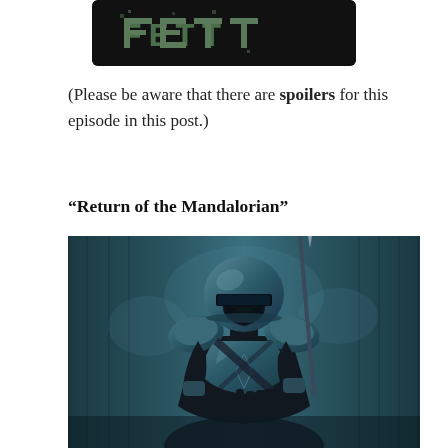[Figure (logo): Book of Boba Fett logo on dark background, pixelated green text style]
(Please be aware that there are spoilers for this episode in this post.)
“Return of the Mandalorian”
[Figure (photo): The Mandalorian character in dark beskar armor standing upright holding a spear, teal/blue-green lighting background]